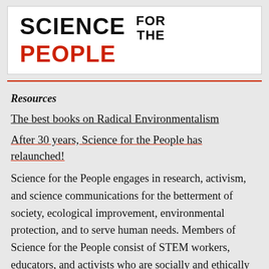[Figure (logo): Science for the People logo — bold black uppercase text reading SCIENCE with FOR THE in smaller black text stacked and PEOPLE in bold red/orange uppercase text]
Resources
The best books on Radical Environmentalism
After 30 years, Science for the People has relaunched!
Science for the People engages in research, activism, and science communications for the betterment of society, ecological improvement, environmental protection, and to serve human needs. Members of Science for the People consist of STEM workers, educators, and activists who are socially and ethically focused, and believe that science